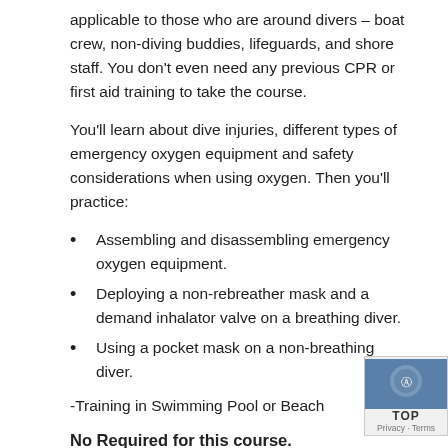applicable to those who are around divers – boat crew, non-diving buddies, lifeguards, and shore staff. You don't even need any previous CPR or first aid training to take the course.
You'll learn about dive injuries, different types of emergency oxygen equipment and safety considerations when using oxygen. Then you'll practice:
Assembling and disassembling emergency oxygen equipment.
Deploying a non-rebreather mask and a demand inhalator valve on a breathing diver.
Using a pocket mask on a non-breathing diver.
-Training in Swimming Pool or Beach
No Required for this course.
Promises We Don't Break: